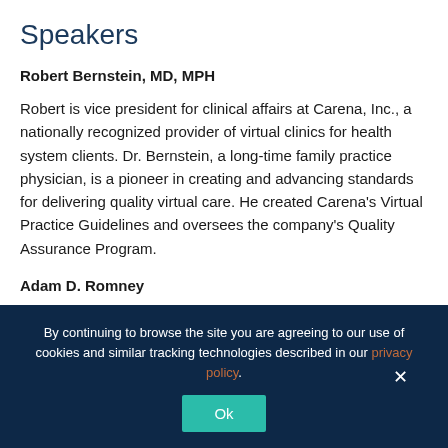Speakers
Robert Bernstein, MD, MPH
Robert is vice president for clinical affairs at Carena, Inc., a nationally recognized provider of virtual clinics for health system clients. Dr. Bernstein, a long-time family practice physician, is a pioneer in creating and advancing standards for delivering quality virtual care. He created Carena's Virtual Practice Guidelines and oversees the company's Quality Assurance Program.
Adam D. Romney
By continuing to browse the site you are agreeing to our use of cookies and similar tracking technologies described in our privacy policy.